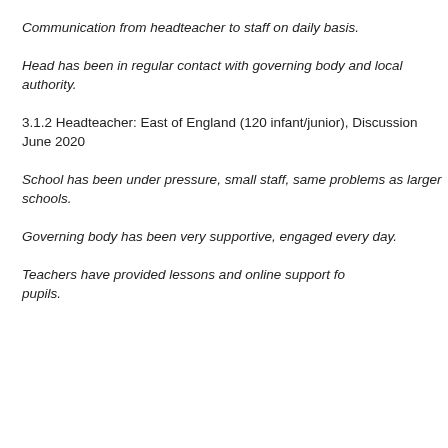Communication from headteacher to staff on daily basis.
Head has been in regular contact with governing body and local authority.
3.1.2 Headteacher: East of England (120 infant/junior), Discussion June 2020
School has been under pressure, small staff, same problems as larger schools.
Governing body has been very supportive, engaged every day.
Teachers have provided lessons and online support fo... pupils.